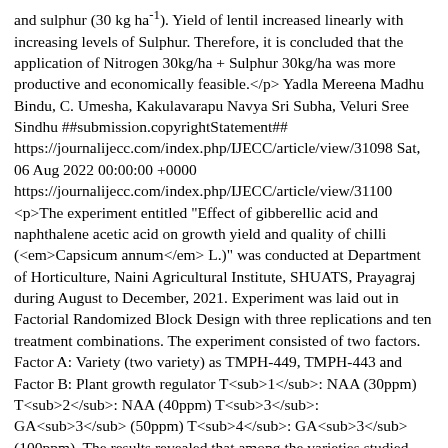and sulphur (30 kg ha-1). Yield of lentil increased linearly with increasing levels of Sulphur. Therefore, it is concluded that the application of Nitrogen 30kg/ha + Sulphur 30kg/ha was more productive and economically feasible.</p> Yadla Mereena Madhu Bindu, C. Umesha, Kakulavarapu Navya Sri Subha, Veluri Sree Sindhu ##submission.copyrightStatement## https://journalijecc.com/index.php/IJECC/article/view/31098 Sat, 06 Aug 2022 00:00:00 +0000 https://journalijecc.com/index.php/IJECC/article/view/31100 <p>The experiment entitled "Effect of gibberellic acid and naphthalene acetic acid on growth yield and quality of chilli (<em>Capsicum annum</em> L.)" was conducted at Department of Horticulture, Naini Agricultural Institute, SHUATS, Prayagraj during August to December, 2021. Experiment was laid out in Factorial Randomized Block Design with three replications and ten treatment combinations. The experiment consisted of two factors. Factor A: Variety (two variety) as TMPH-449, TMPH-443 and Factor B: Plant growth regulator T1: NAA (30ppm) T2: NAA (40ppm) T3: GA3 (50ppm) T4: GA3 (100ppm). The results revealed that among the varieties studied, variety TMPH-449 resulted better in vegetative growth (Plant height, leaf area) whereas variety TMPH-443 resulted better in vegetative growth (Number of branches per plant), yield parameter (Minimum days taken for 50 percent flowering, minimum days to first harvest, number of fruits per plant, length of fruit, number of...